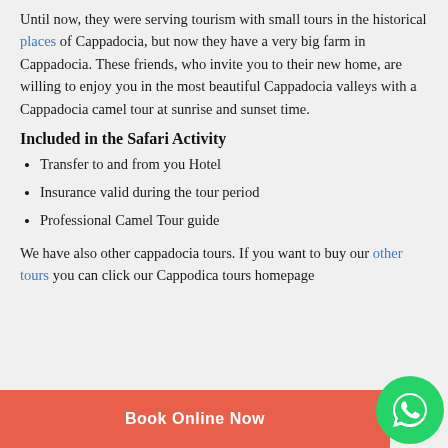Until now, they were serving tourism with small tours in the historical places of Cappadocia, but now they have a very big farm in Cappadocia. These friends, who invite you to their new home, are willing to enjoy you in the most beautiful Cappadocia valleys with a Cappadocia camel tour at sunrise and sunset time.
Included in the Safari Activity
Transfer to and from you Hotel
Insurance valid during the tour period
Professional Camel Tour guide
We have also other cappadocia tours. If you want to buy our other tours you can click our Cappodica tours homepage
[Figure (other): Red 'Book Online Now' button with a green WhatsApp icon button on the right]